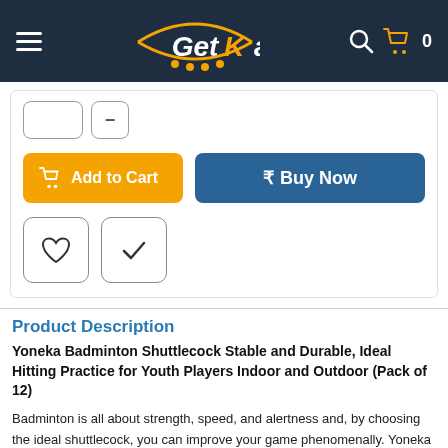GetKart — site navigation header with hamburger menu, logo, search icon, cart icon with count 0
[Figure (screenshot): Quantity input box and minus button]
[Figure (screenshot): Add to Cart button (orange) and Buy Now button (dark blue)]
[Figure (screenshot): Wishlist (heart) icon button and checkmark icon button]
Product Description
Yoneka Badminton Shuttlecock Stable and Durable, Ideal Hitting Practice for Youth Players Indoor and Outdoor (Pack of 12)
Badminton is all about strength, speed, and alertness and, by choosing the ideal shuttlecock, you can improve your game phenomenally. Yoneka shuttlecocks feature a nylon hair leaf in a wavy arc to keep the flight stable. These nylon birdies are equipped with a composite cork ball head to maintain